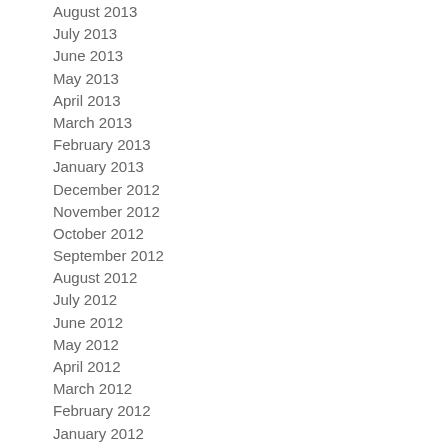August 2013
July 2013
June 2013
May 2013
April 2013
March 2013
February 2013
January 2013
December 2012
November 2012
October 2012
September 2012
August 2012
July 2012
June 2012
May 2012
April 2012
March 2012
February 2012
January 2012
December 2011
November 2011
October 2011
September 2011
August 2011
July 2011
June 2011
March 2011
February 2011
January 2011